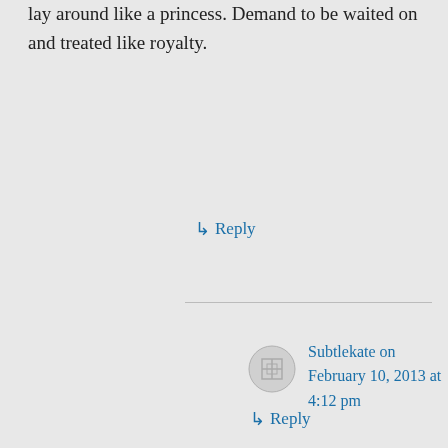lay around like a princess. Demand to be waited on and treated like royalty.
↳ Reply
Subtlekate on February 10, 2013 at 4:12 pm
LOL Bring me my tea. I am laying around and sure to feel more zip any time now.
↳ Reply